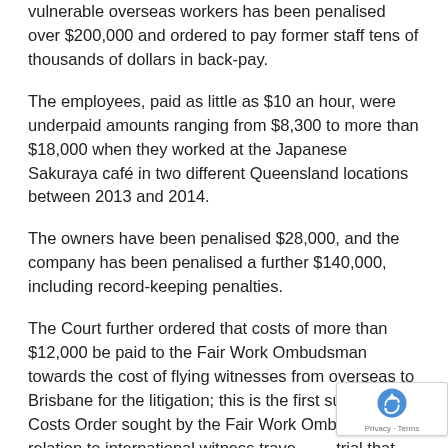vulnerable overseas workers has been penalised over $200,000 and ordered to pay former staff tens of thousands of dollars in back-pay.
The employees, paid as little as $10 an hour, were underpaid amounts ranging from $8,300 to more than $18,000 when they worked at the Japanese Sakuraya café in two different Queensland locations between 2013 and 2014.
The owners have been penalised $28,000, and the company has been penalised a further $140,000, including record-keeping penalties.
The Court further ordered that costs of more than $12,000 be paid to the Fair Work Ombudsman towards the cost of flying witnesses from overseas to Brisbane for the litigation; this is the first successful Costs Order sought by the Fair Work Ombudsman in relation to international witness travel at a trial that did not proceed.